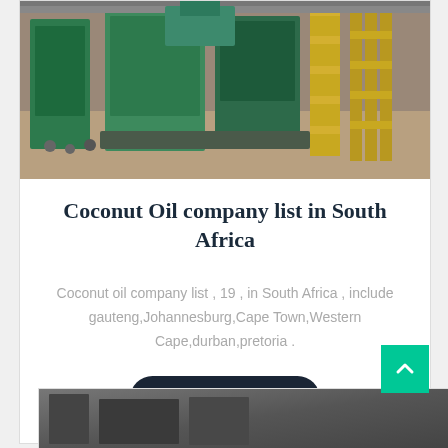[Figure (photo): Aerial/overhead view of industrial green machinery and equipment inside a factory or warehouse]
Coconut Oil company list in South Africa
Coconut oil company list , 19 , in South Africa , include gauteng,Johannesburg,Cape Town,Western Cape,durban,pretoria .
Ask For Price
[Figure (photo): Partial view of industrial equipment - bottom card partially visible]